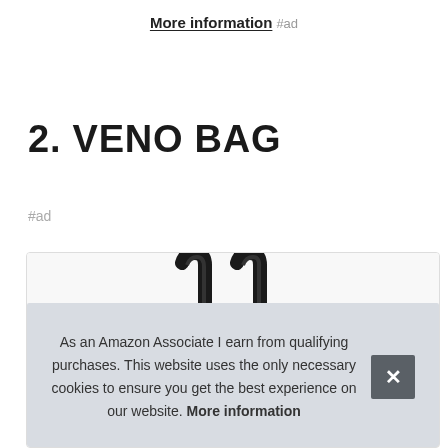More information #ad
2. VENO BAG
#ad
[Figure (photo): Product image of a Veno Bag — a black handled tote/grocery bag shown from above with food items visible below]
As an Amazon Associate I earn from qualifying purchases. This website uses the only necessary cookies to ensure you get the best experience on our website. More information